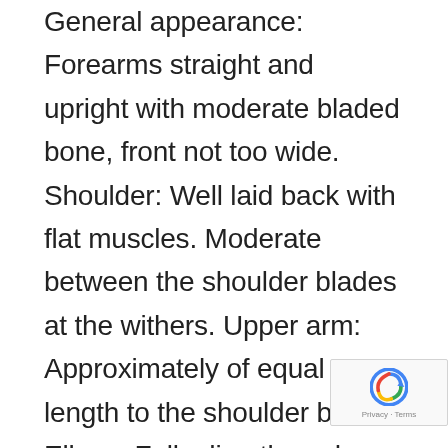General appearance: Forearms straight and upright with moderate bladed bone, front not too wide. Shoulder: Well laid back with flat muscles. Moderate between the shoulder blades at the withers. Upper arm: Approximately of equal length to the shoulder blade. Elbow: Falls directly under the withers when viewed in profile. Metacarpus (Pastern): Strong with slight spring. Forefoot: Oval, well split up between...